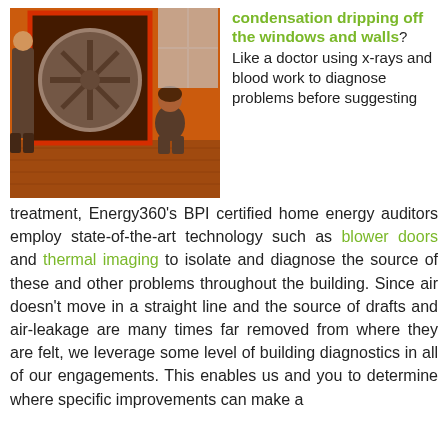[Figure (photo): Two people in a room with a blower door apparatus (large red fan mounted in a doorframe), orange ambient light, wooden floors.]
condensation dripping off the windows and walls? Like a doctor using x-rays and blood work to diagnose problems before suggesting treatment, Energy360's BPI certified home energy auditors employ state-of-the-art technology such as blower doors and thermal imaging to isolate and diagnose the source of these and other problems throughout the building. Since air doesn't move in a straight line and the source of drafts and air-leakage are many times far removed from where they are felt, we leverage some level of building diagnostics in all of our engagements. This enables us and you to determine where specific improvements can make a